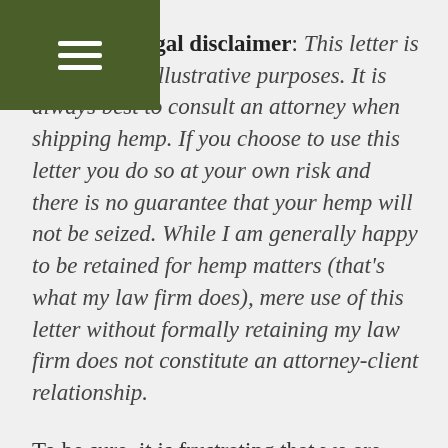Here's my legal disclaimer: This letter is provided for illustrative purposes. It is always best to consult an attorney when shipping hemp. If you choose to use this letter you do so at your own risk and there is no guarantee that your hemp will not be seized. While I am generally happy to be retained for hemp matters (that's what my law firm does), mere use of this letter without formally retaining my law firm does not constitute an attorney-client relationship.
To be sure, it is frustrating that we are still dealing with seizures of lawful hemp almost a year after it was removed from the Controlled Substances Act, there of